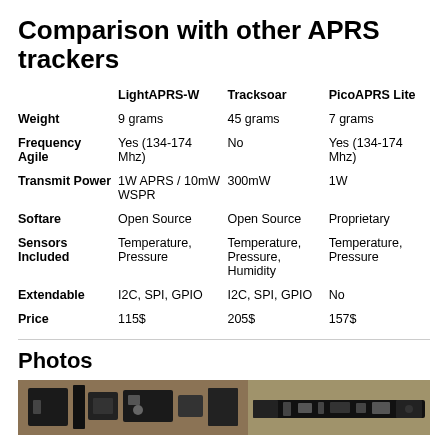Comparison with other APRS trackers
|  | LightAPRS-W | Tracksoar | PicoAPRS Lite |
| --- | --- | --- | --- |
| Weight | 9 grams | 45 grams | 7 grams |
| Frequency Agile | Yes (134-174 Mhz) | No | Yes (134-174 Mhz) |
| Transmit Power | 1W APRS / 10mW WSPR | 300mW | 1W |
| Softare | Open Source | Open Source | Proprietary |
| Sensors Included | Temperature, Pressure | Temperature, Pressure, Humidity | Temperature, Pressure |
| Extendable | I2C, SPI, GPIO | I2C, SPI, GPIO | No |
| Price | 115$ | 205$ | 157$ |
Photos
[Figure (photo): Two photos of APRS tracker hardware devices on wooden surface]